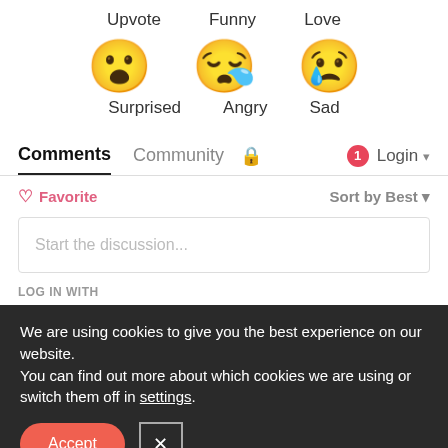Upvote   Funny   Love
[Figure (illustration): Three emoji faces: Surprised (wide-open eyes emoji), Angry (crying/tired face emoji), Sad (sad face with tear emoji)]
Surprised   Angry   Sad
Comments   Community   🔒   1   Login
♡ Favorite   Sort by Best
Start the discussion...
LOG IN WITH
We are using cookies to give you the best experience on our website.
You can find out more about which cookies we are using or switch them off in settings.
Accept   ×